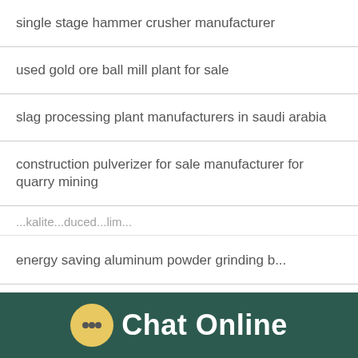single stage hammer crusher manufacturer
used gold ore ball mill plant for sale
slag processing plant manufacturers in saudi arabia
construction pulverizer for sale manufacturer for quarry mining
(partially visible item)
energy saving aluminum powder grinding b...
small mining of manganese equipment need...
(partially visible item)
[Figure (screenshot): Chat popup from 'winnie' saying 'Hello, I am winnie, I am very glad to talk with you!' with close button]
[Figure (screenshot): Blue chat widget on right side with number 1 badge, emoji, and 'Click me to chat >>' button, plus Enquiry label]
Chat Online